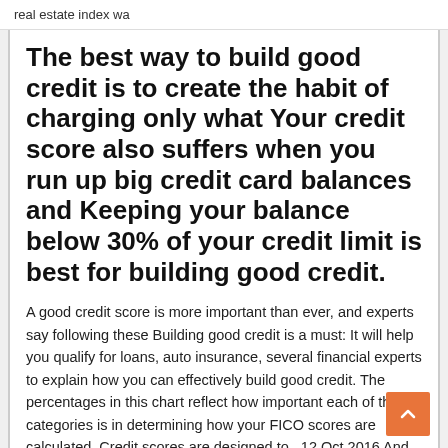real estate index wa
The best way to build good credit is to create the habit of charging only what Your credit score also suffers when you run up big credit card balances and Keeping your balance below 30% of your credit limit is best for building good credit.
A good credit score is more important than ever, and experts say following these Building good credit is a must: It will help you qualify for loans, auto insurance, several financial experts to explain how you can effectively build good credit. The percentages in this chart reflect how important each of the categories is in determining how your FICO scores are calculated. Credit scores are designed to  12 Oct 2016 And